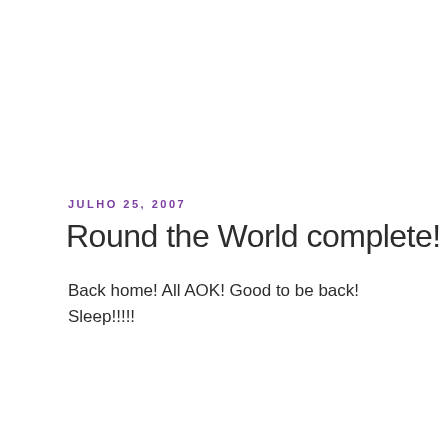JULHO 25, 2007
Round the World complete!
Back home! All AOK! Good to be back! Sleep!!!!!